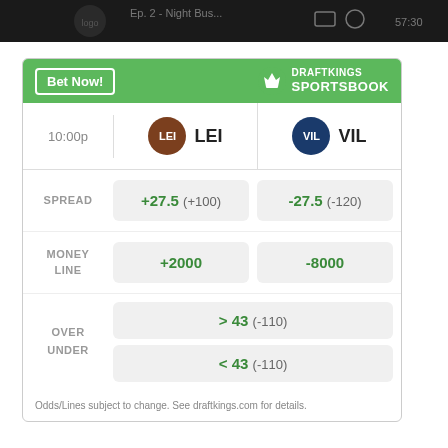[Figure (screenshot): Dark app navigation bar at top of screen]
|  | LEI | VIL |
| --- | --- | --- |
| 10:00p | LEI | VIL |
| SPREAD | +27.5 (+100) | -27.5 (-120) |
| MONEY LINE | +2000 | -8000 |
| OVER UNDER | > 43 (-110) | < 43 (-110) |
Odds/Lines subject to change. See draftkings.com for details.